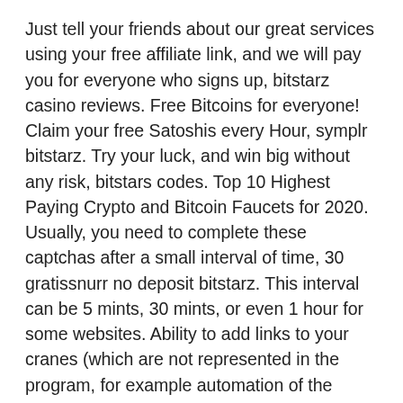Just tell your friends about our great services using your free affiliate link, and we will pay you for everyone who signs up, bitstarz casino reviews. Free Bitcoins for everyone! Claim your free Satoshis every Hour, symplr bitstarz. Try your luck, and win big without any risk, bitstars codes. Top 10 Highest Paying Crypto and Bitcoin Faucets for 2020. Usually, you need to complete these captchas after a small interval of time, 30 gratissnurr no deposit bitstarz. This interval can be 5 mints, 30 mints, or even 1 hour for some websites. Ability to add links to your cranes (which are not represented in the program, for example automation of the moon-cranes for coinpot). To do this, just fill in a few fields, битстарз казино зеркало контрольчестности.рф. Bitcoin faucet is a reward system in the form of a website or app that releases rewards in the form of a Satoshi, a fraction of a bitcoin after